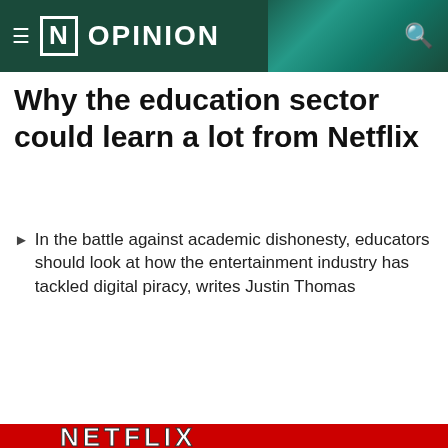≡ [N] OPINION
Why the education sector could learn a lot from Netflix
▶ In the battle against academic dishonesty, educators should look at how the entertainment industry has tackled digital piracy, writes Justin Thomas
[Figure (photo): Author profile thumbnail with light blue background showing JUSTIN THOMAS name]
[Figure (photo): Netflix logo on red background]